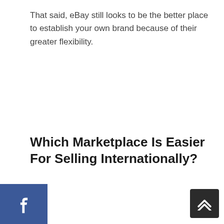That said, eBay still looks to be the better place to establish your own brand because of their greater flexibility.
Which Marketplace Is Easier For Selling Internationally?
[Figure (infographic): Social share buttons: Facebook (blue), Twitter (light blue), Pinterest (red), stacked vertically on the left side]
[Figure (infographic): Scroll-to-top button with double upward chevron, dark background, bottom-right corner]